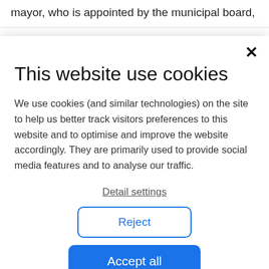mayor, who is appointed by the municipal board,
This website use cookies
We use cookies (and similar technologies) on the site to help us better track visitors preferences to this website and to optimise and improve the website accordingly. They are primarily used to provide social media features and to analyse our traffic.
Detail settings
Reject
Accept all